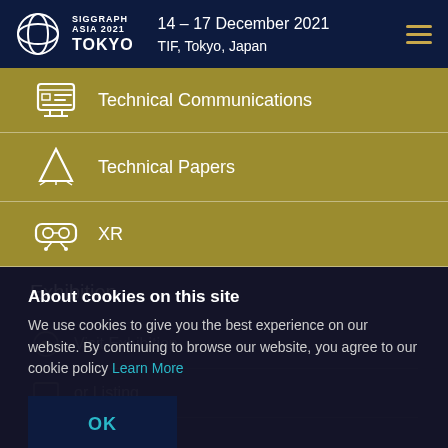SIGGRAPH ASIA 2021 TOKYO | 14 – 17 December 2021 | TIF, Tokyo, Japan
Technical Communications
Technical Papers
XR
Exhibition
About cookies on this site
We use cookies to give you the best experience on our website. By continuing to browse our website, you agree to our cookie policy Learn More
Visit Exhibition
or Listing
OK